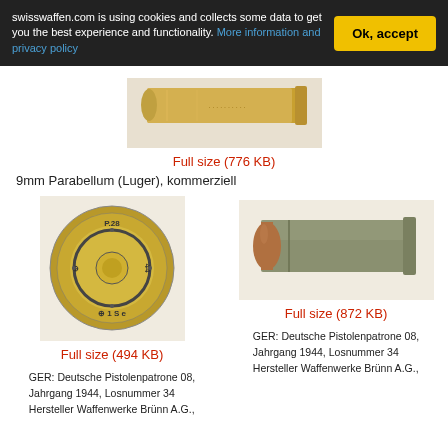swisswaffen.com is using cookies and collects some data to get you the best experience and functionality. More information and privacy policy
[Figure (photo): Partial top view of a 9mm Parabellum brass cartridge, cropped at top]
Full size (776 KB)
9mm Parabellum (Luger), kommerziell
[Figure (photo): Base/headstamp view of a 9mm Deutsche Pistolenpatrone 08, Jahrgang 1944, Losnummer 34, Hersteller Waffenwerke Brünn A.G.]
Full size (494 KB)
[Figure (photo): Side view of a 9mm Deutsche Pistolenpatrone 08, Jahrgang 1944, Losnummer 34, Hersteller Waffenwerke Brünn A.G.]
Full size (872 KB)
GER: Deutsche Pistolenpatrone 08, Jahrgang 1944, Losnummer 34 Hersteller Waffenwerke Brünn A.G.,
GER: Deutsche Pistolenpatrone 08, Jahrgang 1944, Losnummer 34 Hersteller Waffenwerke Brünn A.G.,